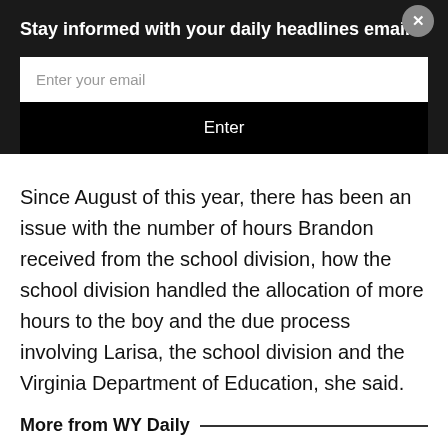Stay informed with your daily headlines email.
[Figure (screenshot): Email signup form with text input field labeled 'Enter your email' and a black 'Enter' button below it. A grey circular close button with an X is positioned at the top right.]
Since August of this year, there has been an issue with the number of hours Brandon received from the school division, how the school division handled the allocation of more hours to the boy and the due process involving Larisa, the school division and the Virginia Department of Education, she said.
More from WY Daily